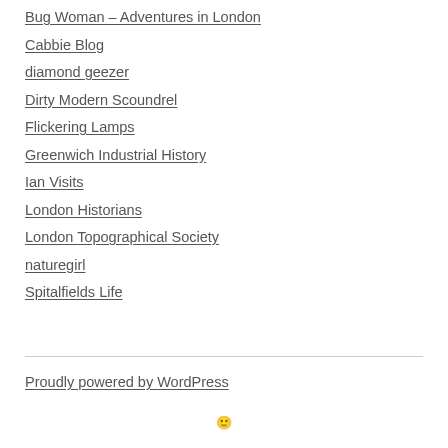Bug Woman – Adventures in London
Cabbie Blog
diamond geezer
Dirty Modern Scoundrel
Flickering Lamps
Greenwich Industrial History
Ian Visits
London Historians
London Topographical Society
naturegirl
Spitalfields Life
Proudly powered by WordPress